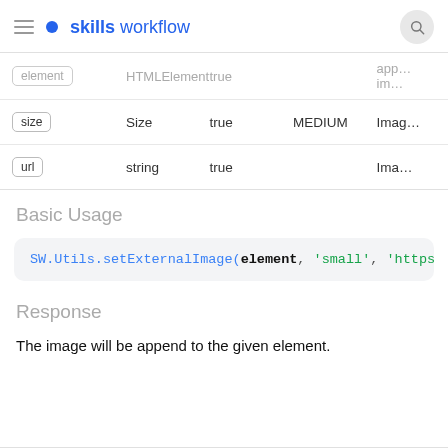skills workflow
| Name | Type | Required | Default | Description |
| --- | --- | --- | --- | --- |
| element | HTMLElement | true |  | app… im… |
| size | Size | true | MEDIUM | Imag… |
| url | string | true |  | Ima… |
Basic Usage
SW.Utils.setExternalImage(element, 'small', 'https://test
Response
The image will be append to the given element.